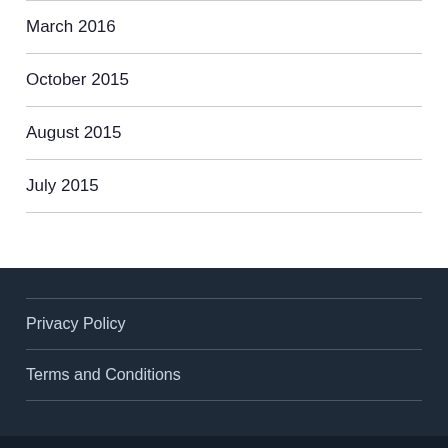March 2016
October 2015
August 2015
July 2015
Privacy Policy
Terms and Conditions